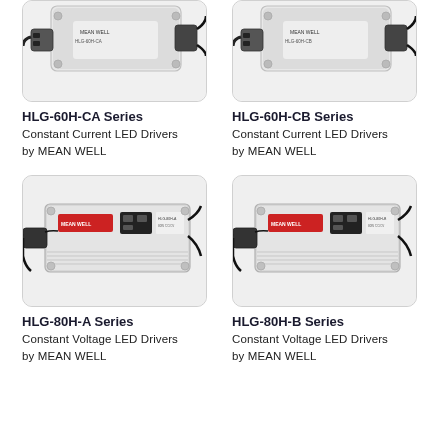[Figure (photo): HLG-60H-CA Series LED driver product photo - white/grey rectangular power supply unit with wires]
HLG-60H-CA Series
Constant Current LED Drivers by MEAN WELL
[Figure (photo): HLG-60H-CB Series LED driver product photo - white/grey rectangular power supply unit with wires]
HLG-60H-CB Series
Constant Current LED Drivers by MEAN WELL
[Figure (photo): HLG-80H-A Series LED driver product photo - silver/grey rectangular power supply unit with wires and label]
HLG-80H-A Series
Constant Voltage LED Drivers by MEAN WELL
[Figure (photo): HLG-80H-B Series LED driver product photo - silver/grey rectangular power supply unit with wires and label]
HLG-80H-B Series
Constant Voltage LED Drivers by MEAN WELL